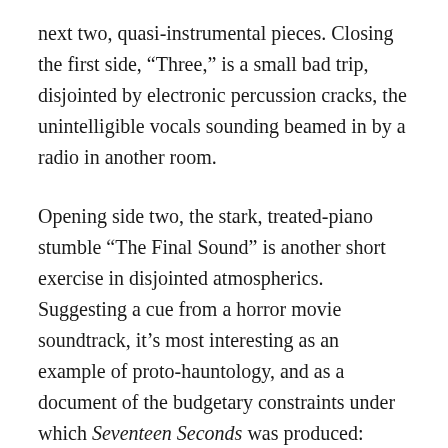next two, quasi-instrumental pieces. Closing the first side, “Three,” is a small bad trip, disjointed by electronic percussion cracks, the unintelligible vocals sounding beamed in by a radio in another room.
Opening side two, the stark, treated-piano stumble “The Final Sound” is another short exercise in disjointed atmospherics. Suggesting a cue from a horror movie soundtrack, it’s most interesting as an example of proto-hauntology, and as a document of the budgetary constraints under which Seventeen Seconds was produced: originally, the 52-second track was intended as a much longer piece, but the tape